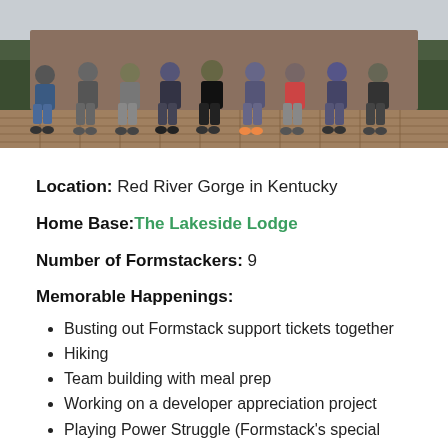[Figure (photo): A group of people (approximately 9-10) sitting in a row on a wooden porch or deck, legs visible, casual clothing, outdoors setting.]
Location: Red River Gorge in Kentucky
Home Base: The Lakeside Lodge
Number of Formstackers: 9
Memorable Happenings:
Busting out Formstack support tickets together
Hiking
Team building with meal prep
Working on a developer appreciation project
Playing Power Struggle (Formstack's special